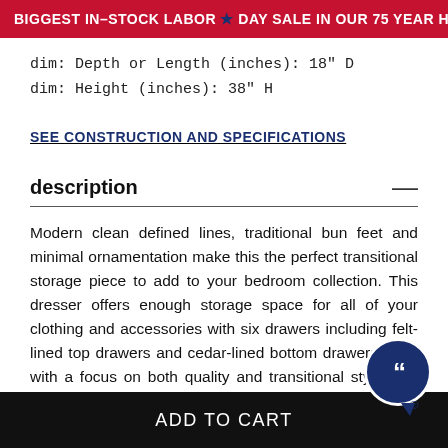BIGGEST IN-STOCK LABOR ★ DAY SALE IN OUR 75 YEAR HISTORY▶
dim: Depth or Length (inches): 18" D
dim: Height (inches): 38" H
SEE CONSTRUCTION AND SPECIFICATIONS
description
Modern clean defined lines, traditional bun feet and minimal ornamentation make this the perfect transitional storage piece to add to your bedroom collection. This dresser offers enough storage space for all of your clothing and accessories with six drawers including felt-lined top drawers and cedar-lined bottom drawers. Built with a focus on both quality and transitional style, this piece will make a wonderful addition to your bedr...
ADD TO CART